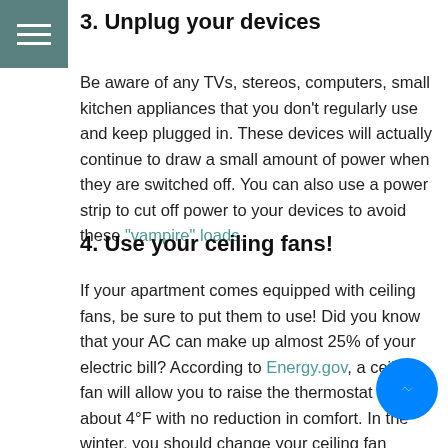3. Unplug your devices
Be aware of any TVs, stereos, computers, small kitchen appliances that you don't regularly use and keep plugged in. These devices will actually continue to draw a small amount of power when they are switched off. You can also use a power strip to cut off power to your devices to avoid these "vampire" loads.
4. Use your ceiling fans!
If your apartment comes equipped with ceiling fans, be sure to put them to use! Did you know that your AC can make up almost 25% of your electric bill? According to Energy.gov, a ceiling fan will allow you to raise the thermostat setting about 4°F with no reduction in comfort. In the winter, you should change your ceiling fan